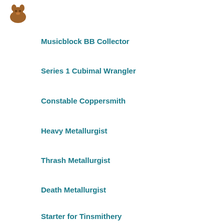[Figure (illustration): Small brown animal figurine/icon]
Musicblock BB Collector
Series 1 Cubimal Wrangler
Constable Coppersmith
Heavy Metallurgist
Thrash Metallurgist
Death Metallurgist
Starter for Tinsmithery